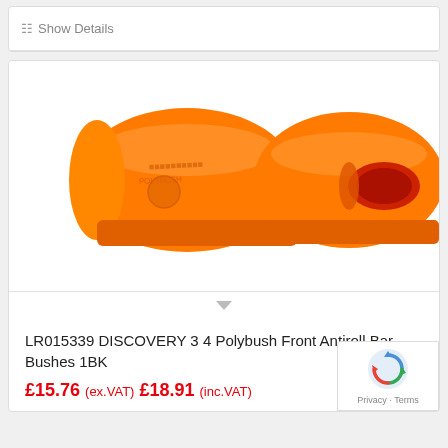Show Details
[Figure (photo): Two orange polyurethane anti-roll bar bushes/Polybush components on white background. Left piece shows the outer shell closed end; right piece shows the hollow bore opening.]
LR015339 DISCOVERY 3 4 Polybush Front Antiroll Bar Bushes 1BK
£15.76 (ex.VAT) £18.91 (inc.VAT)